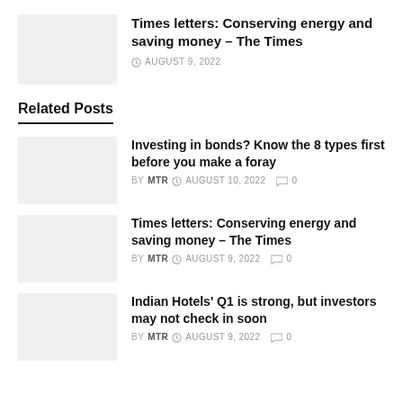[Figure (photo): Thumbnail image placeholder (light gray box)]
Times letters: Conserving energy and saving money – The Times
AUGUST 9, 2022
Related Posts
[Figure (photo): Thumbnail image placeholder (light gray box)]
Investing in bonds? Know the 8 types first before you make a foray
BY MTR  AUGUST 10, 2022  0
[Figure (photo): Thumbnail image placeholder (light gray box)]
Times letters: Conserving energy and saving money – The Times
BY MTR  AUGUST 9, 2022  0
[Figure (photo): Thumbnail image placeholder (light gray box)]
Indian Hotels' Q1 is strong, but investors may not check in soon
BY MTR  AUGUST 9, 2022  0